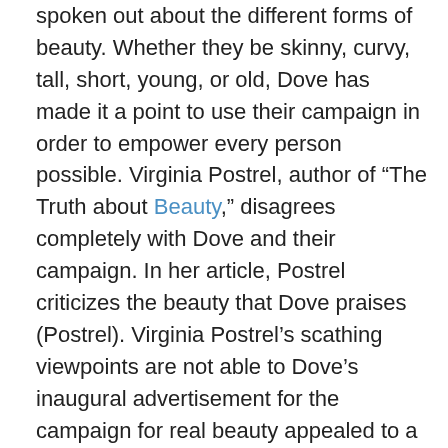spoken out about the different forms of beauty. Whether they be skinny, curvy, tall, short, young, or old, Dove has made it a point to use their campaign in order to empower every person possible. Virginia Postrel, author of “The Truth about Beauty,” disagrees completely with Dove and their campaign. In her article, Postrel criticizes the beauty that Dove praises (Postrel). Virginia Postrel’s scathing viewpoints are not able to Dove’s inaugural advertisement for the campaign for real beauty appealed to a wider demographic than most advertisement by using realer models. The advertisement is a picture of six women, of all races, who are not at all conventional …show more content… Dove does an exceptional job of ridding of the